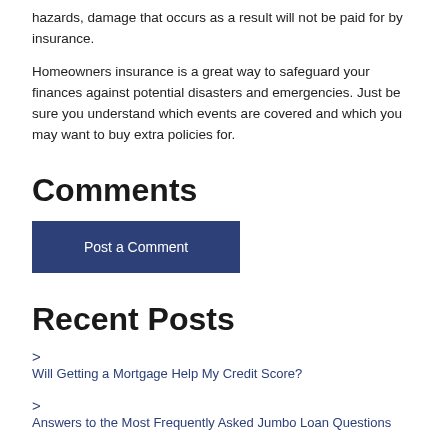hazards, damage that occurs as a result will not be paid for by insurance.
Homeowners insurance is a great way to safeguard your finances against potential disasters and emergencies. Just be sure you understand which events are covered and which you may want to buy extra policies for.
Comments
Post a Comment
Recent Posts
Will Getting a Mortgage Help My Credit Score?
Answers to the Most Frequently Asked Jumbo Loan Questions